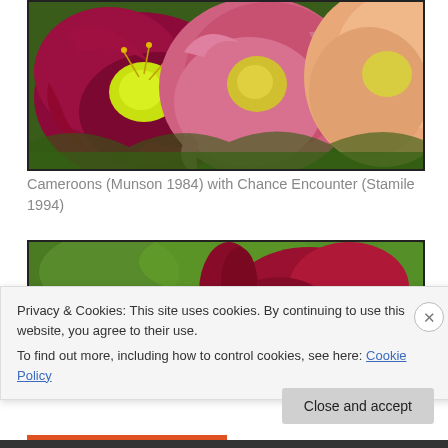[Figure (photo): Close-up photograph of daylily flowers — deep crimson/purple blooms with bright yellow-green throats on the left, and softer pink-peach ruffled blooms on the right, with green foliage in the background.]
Cameroons (Munson 1984) with Chance Encounter (Stamile 1994)
[Figure (photo): Partial photograph of dark red/crimson daylily flowers with green leafy background, partially obscured by a cookie consent banner overlay.]
Privacy & Cookies: This site uses cookies. By continuing to use this website, you agree to their use.
To find out more, including how to control cookies, see here: Cookie Policy